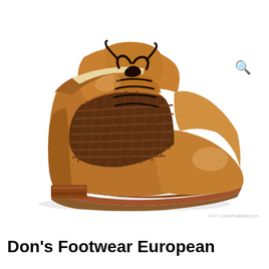[Figure (photo): A brown leather Oxford/Derby dress shoe with woven/braided texture panel on the vamp, cap toe, and dark brown laces. The shoe features mixed tan and dark brown leather, a stacked leather heel, and is photographed on a white background.]
Don's Footwear European